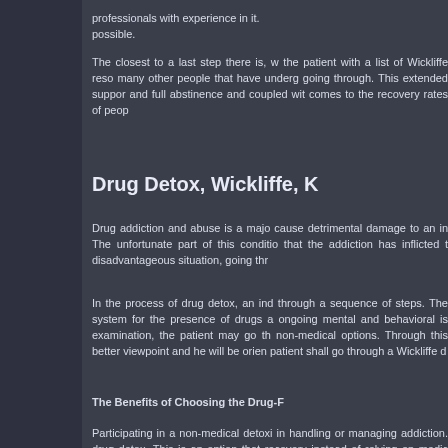professionals with experience in it. possible.
The closest to a last step there is, w the patient with a list of Wickliffe reso many other people that have undergо going through. This extended support and full abstinence and coupled with comes to the recovery rates of peop.
Drug Detox, Wickliffe, K
Drug addiction and abuse is a majo cause detrimental damage to an ind The unfortunate part of this condition that the addiction has inflicted to disadvantageous situation, going thr
In the process of drug detox, an ind through a sequence of steps. The v system for the presence of drugs an ongoing mental and behavioral is examination, the patient may go thr non-medical options. Through this c better viewpoint and he will be orient patient shall go through a Wickliffe dr
The Benefits of Choosing the Drug-F
Participating in a non-medical detox in handling or managing addiction. F drug detox. This is an option that p recovery instead of relying on medica method utilizes a holistic approach a cause undesirable side-effects and a
The drug-free rehabilitation method focus on restoring his balance in